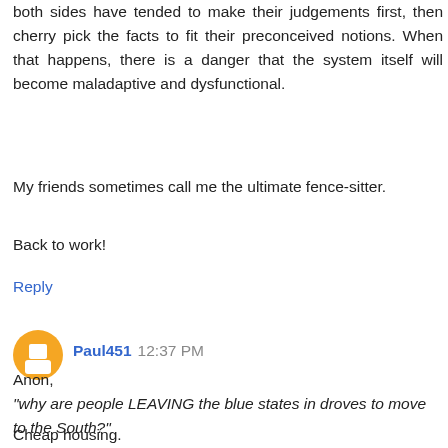both sides have tended to make their judgements first, then cherry pick the facts to fit their preconceived notions. When that happens, there is a danger that the system itself will become maladaptive and dysfunctional.
My friends sometimes call me the ultimate fence-sitter.
Back to work!
Reply
Paul451  12:37 PM
Anon,
"why are people LEAVING the blue states in droves to move to the South?"
Cheap housing.
Seriously, that's it. Wages are lower, therefore there isn't a higher demand for workers, so they aren't chasing jobs. Education standards are worse, so it isn't for their kids. It's just the price of housing. (And even then, it's only in a few